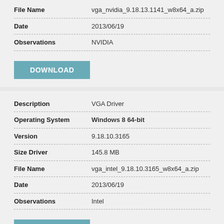| Field | Value |
| --- | --- |
| File Name | vga_nvidia_9.18.13.1141_w8x64_a.zip |
| Date | 2013/06/19 |
| Observations | NVIDIA |
DOWNLOAD
| Field | Value |
| --- | --- |
| Description | VGA Driver |
| Operating System | Windows 8 64-bit |
| Version | 9.18.10.3165 |
| Size Driver | 145.8 MB |
| File Name | vga_intel_9.18.10.3165_w8x64_a.zip |
| Date | 2013/06/19 |
| Observations | Intel |
DOWNLOAD